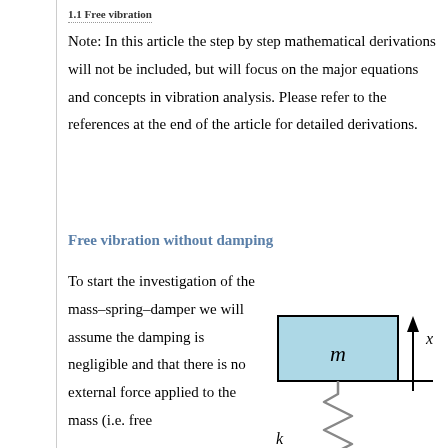1.1 Free vibration
Note: In this article the step by step mathematical derivations will not be included, but will focus on the major equations and concepts in vibration analysis. Please refer to the references at the end of the article for detailed derivations.
Free vibration without damping
To start the investigation of the mass–spring–damper we will assume the damping is negligible and that there is no external force applied to the mass (i.e. free
[Figure (engineering-diagram): Mass-spring system diagram showing a mass block labeled 'm' (blue rectangle) suspended on a spring labeled 'k' (zigzag spring) above a fixed ground surface, with a vertical arrow labeled 'x' indicating displacement direction.]